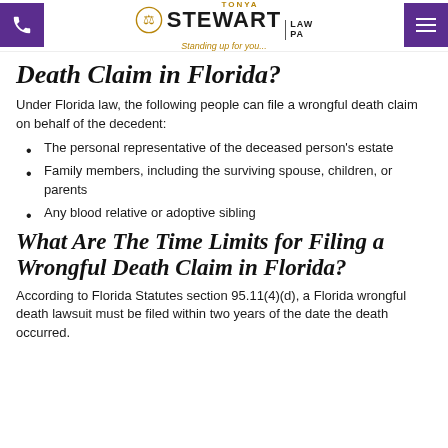Tonya Stewart Law PA — Standing up for you...
Death Claim in Florida?
Under Florida law, the following people can file a wrongful death claim on behalf of the decedent:
The personal representative of the deceased person's estate
Family members, including the surviving spouse, children, or parents
Any blood relative or adoptive sibling
What Are The Time Limits for Filing a Wrongful Death Claim in Florida?
According to Florida Statutes section 95.11(4)(d), a Florida wrongful death lawsuit must be filed within two years of the date the death occurred.